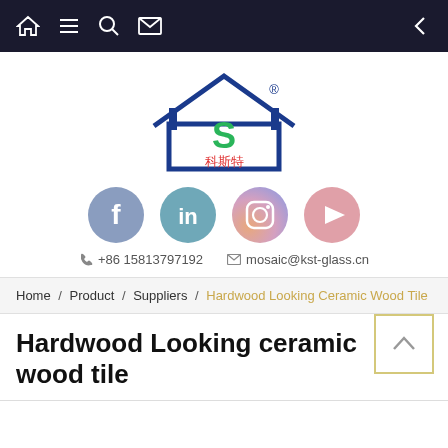Navigation bar with home, list, search, mail icons and back arrow
[Figure (logo): KST company logo with blue house outline, green S letter, red Chinese characters 科斯特, and registered trademark symbol]
[Figure (infographic): Social media icons: Facebook (blue-grey circle), LinkedIn (teal circle), Instagram (gradient circle), YouTube (pink circle)]
+86 15813797192   mosaic@kst-glass.cn
Home / Product / Suppliers / Hardwood Looking Ceramic Wood Tile
Hardwood Looking ceramic wood tile